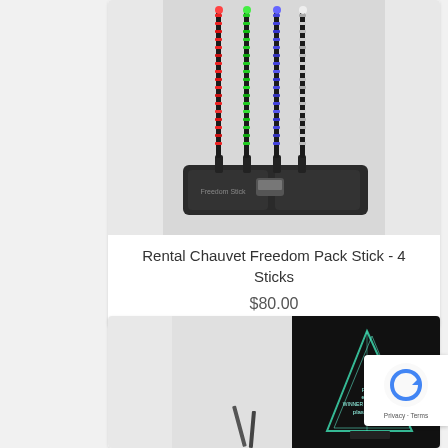[Figure (photo): Photo of Chauvet Freedom Pack Stick set with 4 LED light sticks in red, green, blue, and white colors mounted on stands, with a carrying case and remote control below, against a light gray background.]
Rental Chauvet Freedom Pack Stick - 4 Sticks
$80.00
[Figure (photo): Photo of a glass award trophy on a dark/black background, shaped like a triangle/pyramid with engraved text reading plasa london award for innovation and related text.]